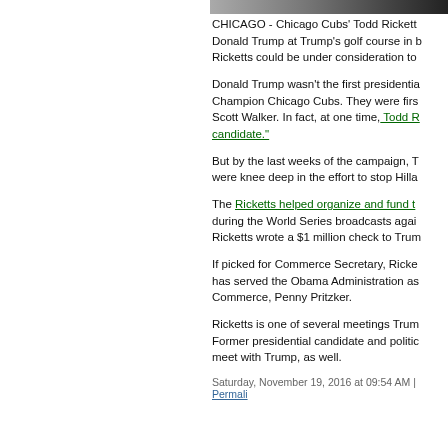[Figure (photo): Partial cropped photo strip at top of right panel, showing dark background]
CHICAGO - Chicago Cubs' Todd Ricketts met with Donald Trump at Trump's golf course in Bedminster. Ricketts could be under consideration to...
Donald Trump wasn't the first presidential candidate to court the World Champion Chicago Cubs. They were first courted by Wisconsin Gov. Scott Walker. In fact, at one time, Todd R... candidate."
But by the last weeks of the campaign, T... were knee deep in the effort to stop Hilla...
The Ricketts helped organize and fund t... during the World Series broadcasts agai... Ricketts wrote a $1 million check to Trum...
If picked for Commerce Secretary, Ricke... has served the Obama Administration as... Commerce, Penny Pritzker.
Ricketts is one of several meetings Trum... Former presidential candidate and politic... meet with Trump, as well.
Saturday, November 19, 2016 at 09:54 AM | Permali...